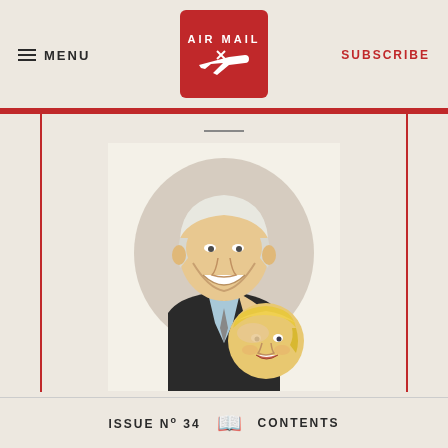MENU | AIR MAIL | SUBSCRIBE
[Figure (illustration): Caricature illustration of two political figures — a tall older man with white hair smiling broadly looking down at a shorter man with blond hair, rendered in watercolor style.]
ISSUE No 34  CONTENTS